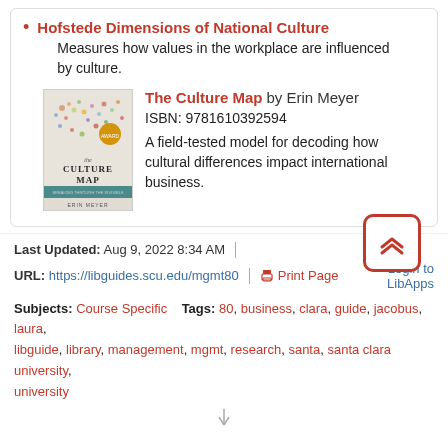Hofstede Dimensions of National Culture
Measures how values in the workplace are influenced by culture.
[Figure (illustration): Book cover of 'The Culture Map' by Erin Meyer]
The Culture Map by Erin Meyer
ISBN: 9781610392594
A field-tested model for decoding how cultural differences impact international business.
Last Updated: Aug 9, 2022 8:34 AM | URL: https://libguides.scu.edu/mgmt80 | Print Page Login to LibApps Subjects: Course Specific Tags: 80, business, clara, guide, jacobus, laura, libguide, library, management, mgmt, research, santa, santa clara university, university